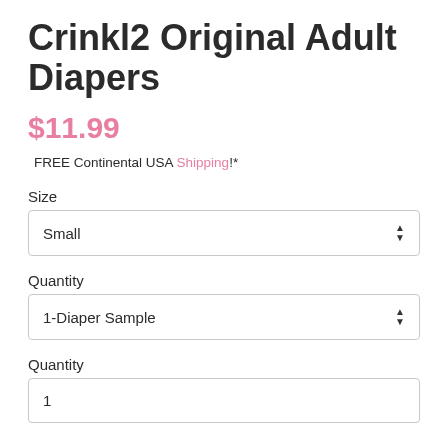Crinkl2 Original Adult Diapers
$11.99
FREE Continental USA Shipping!*
Size
Small
Quantity
1-Diaper Sample
Quantity
1